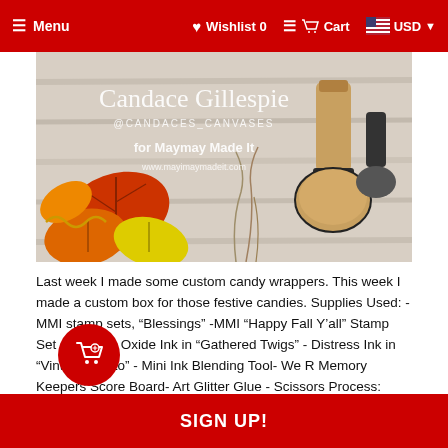Menu  Wishlist 0  Cart  USD
[Figure (photo): Crafting photo showing autumn/fall leaves cutouts in orange, red and yellow, a large round ink blending brush, dried grass, and overlay text reading 'Candace Gillespie @candaces_canvases for Maymay Made It www.mayimaymadeit.com' on a white wood background.]
Last week I made some custom candy wrappers. This week I made a custom box for those festive candies. Supplies Used: - MMI stamp sets, “Blessings” -MMI “Happy Fall Y’all” Stamp Set - Distress Oxide Ink in “Gathered Twigs” - Distress Ink in “Vintage Photo” - Mini Ink Blending Tool- We R Memory Keepers Score Board- Art Glitter Glue - Scissors Process: Step cut down cardstock to correct size, score, cut, trim, ro... I have included a photo of my plan. If you'd like
SIGN UP!